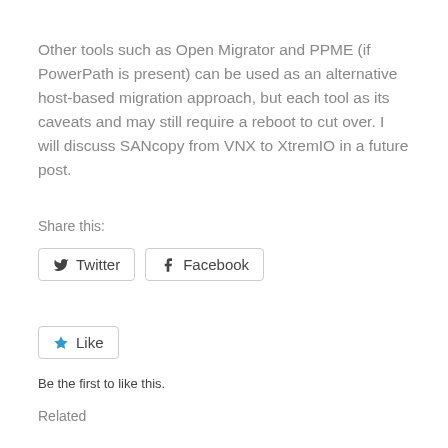Other tools such as Open Migrator and PPME (if PowerPath is present) can be used as an alternative host-based migration approach, but each tool as its caveats and may still require a reboot to cut over. I will discuss SANcopy from VNX to XtremIO in a future post.
Share this:
Twitter
Facebook
Like
Be the first to like this.
Related
VMWARE MIGRATION OF VMS AND RDMS FROM VNX TO XTREMIO – PART 3
VMware Migration of VMs and RDMs from VNX to XtremIO – Part 2